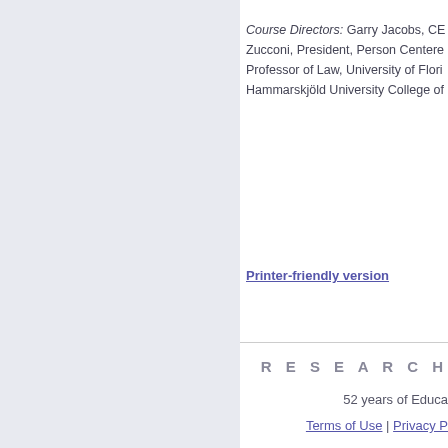Course Directors: Garry Jacobs, CE Zucconi, President, Person Centered Professor of Law, University of Flori Hammarskjöld University College of
Printer-friendly version
R E S E A R C H
52 years of Educa
Terms of Use  |  Privacy P
THE MOTH
No. 5, Puduvai Sivam street